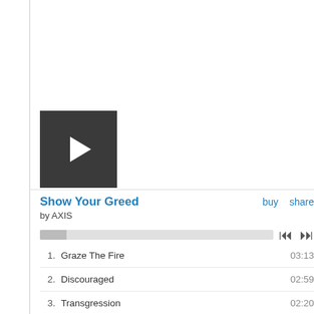[Figure (screenshot): Video/audio player thumbnail — dark grey square with white play button triangle]
Show Your Greed
by AXIS
1.   Graze The Fire   03:13
2.   Discouraged   02:59
3.   Transgression   02:20
4.   Show Your Greed   00:00 / 02:23